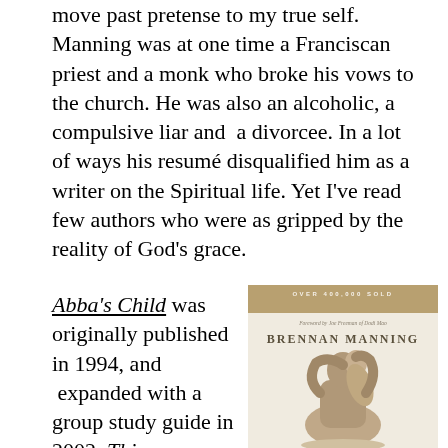move past pretense to my true self. Manning was at one time a Franciscan priest and a monk who broke his vows to the church. He was also an alcoholic, a compulsive liar and a divorcee. In a lot of ways his resumé disqualified him as a writer on the Spiritual life. Yet I've read few authors who were as gripped by the reality of God's grace.
Abba's Child was originally published in 1994, and expanded with a group study guide in 2002. This...
[Figure (photo): Book cover of Abba's Child by Brennan Manning. Tan/gold banner at top reads 'OVER 400,000 SOLD'. Subtitle text 'Foreword by an Freeman of Dodi Mao'. Author name 'BRENNAN MANNING' in large serif caps. Image of a sculpture showing two figures embracing — appears to be a parent holding a child. Background is cream/off-white.]